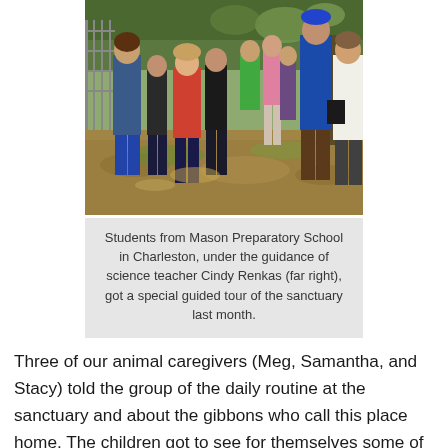[Figure (photo): Group of students and adults standing outdoors in a wooded sanctuary area, with trees, fencing visible in background. Students of various ages in casual clothing, one adult woman in blue jacket on left, another adult in white sweater on far right.]
Students from Mason Preparatory School in Charleston, under the guidance of science teacher Cindy Renkas (far right), got a special guided tour of the sanctuary last month.
Three of our animal caregivers (Meg, Samantha, and Stacy) told the group of the daily routine at the sanctuary and about the gibbons who call this place home. The children got to see for themselves some of